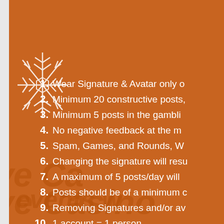[Figure (illustration): Snowflake icon in white, top-left area of orange background]
1. Wear Signature & Avatar only o...
2. Minimum 20 constructive posts,...
3. Minimum 5 posts in the gambli...
4. No negative feedback at the m...
5. Spam, Games, and Rounds, W...
6. Changing the signature will resu...
7. A maximum of 5 posts/day will ...
8. Posts should be of a minimum c...
9. Removing Signatures and/or av...
10. 1 account = 1 person
11. Manager can remove you from...